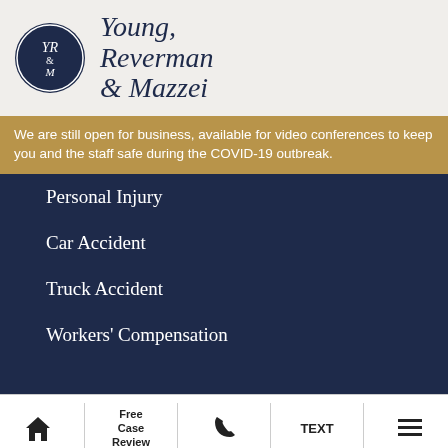[Figure (logo): Young, Reverman & Mazzei law firm logo with oval emblem containing YRM initials and firm name in serif italic text]
We are still open for business, available for video conferences to keep you and the staff safe during the COVID-19 outbreak.
Personal Injury
Car Accident
Truck Accident
Workers' Compensation
Home | Free Case Review | Phone | TEXT | Menu